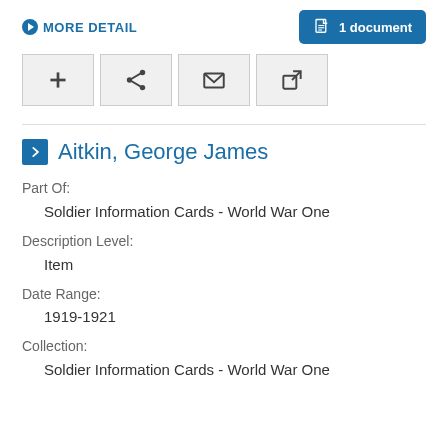MORE DETAIL
1 document
[Figure (screenshot): Four icon buttons: add (+), share, email (envelope), and external link (arrow out of box)]
Aitkin, George James
Part Of:
Soldier Information Cards - World War One
Description Level:
Item
Date Range:
1919-1921
Collection:
Soldier Information Cards - World War One